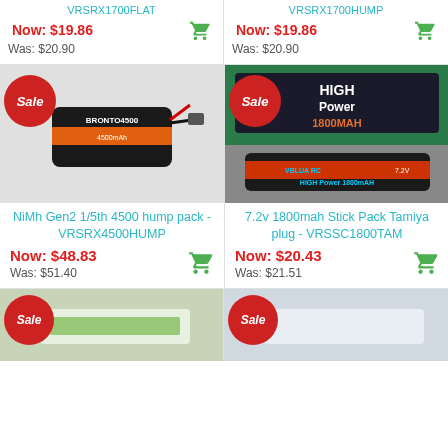VRSRX1700FLAT
Now: $19.86
Was: $20.90
VRSRX1700HUMP
Now: $19.86
Was: $20.90
[Figure (photo): NiMh Gen2 1/5th 4500 hump pack battery with sale badge]
NiMh Gen2 1/5th 4500 hump pack - VRSRX4500HUMP
Now: $48.83
Was: $51.40
[Figure (photo): 7.2v 1800mah Stick Pack Tamiya plug HIGH Power 1800MAH battery with sale badge]
7.2v 1800mah Stick Pack Tamiya plug - VRSSC1800TAM
Now: $20.43
Was: $21.51
[Figure (photo): Battery product with sale badge - partially visible at bottom left]
[Figure (photo): Battery product with sale badge - partially visible at bottom right]